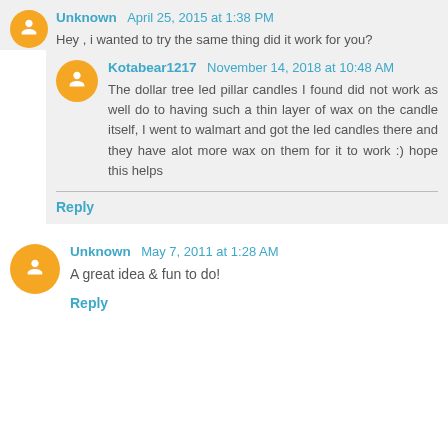Unknown April 25, 2015 at 1:38 PM
Hey , i wanted to try the same thing did it work for you?
Kotabear1217 November 14, 2018 at 10:48 AM
The dollar tree led pillar candles I found did not work as well do to having such a thin layer of wax on the candle itself, I went to walmart and got the led candles there and they have alot more wax on them for it to work :) hope this helps
Reply
Unknown May 7, 2011 at 1:28 AM
A great idea & fun to do!
Reply